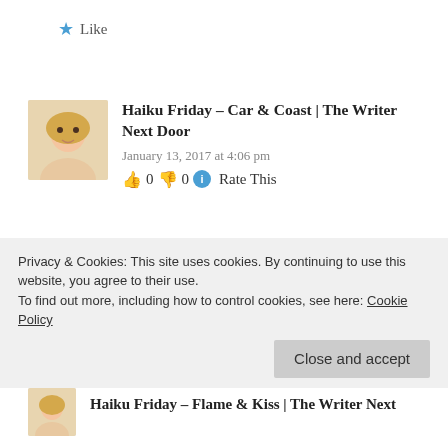★ Like
Haiku Friday – Car & Coast | The Writer Next Door
January 13, 2017 at 4:06 pm
👍 0 👎 0 ℹ Rate This
[…] also does author interviews and much more on his blog. Be sure to check it out. Read Ron's Haiku Prompt Challenge Guidelines for more […]
Privacy & Cookies: This site uses cookies. By continuing to use this website, you agree to their use. To find out more, including how to control cookies, see here: Cookie Policy
Close and accept
Haiku Friday – Flame & Kiss | The Writer Next